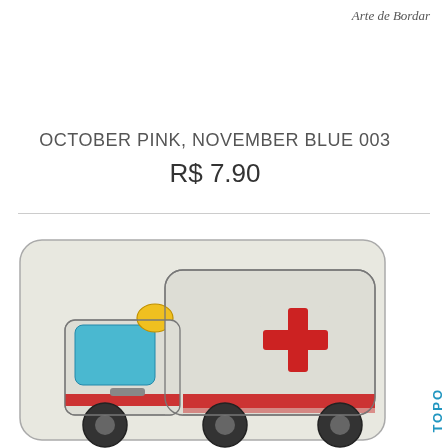Arte de Bordar
OCTOBER PINK, NOVEMBER BLUE 003
R$ 7.90
[Figure (illustration): Embroidery design of an ambulance truck with a yellow siren light on top, blue windshield, red cross on the side panel, red stripe along the bottom, dark wheels, on a light grey textured background with rounded corners.]
TOPO